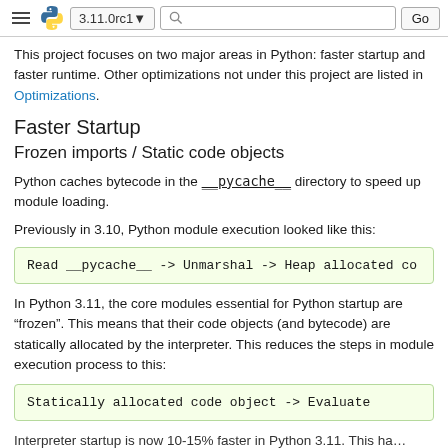3.11.0rc1 Go
This project focuses on two major areas in Python: faster startup and faster runtime. Other optimizations not under this project are listed in Optimizations.
Faster Startup
Frozen imports / Static code objects
Python caches bytecode in the __pycache__ directory to speed up module loading.
Previously in 3.10, Python module execution looked like this:
Read __pycache__ -> Unmarshal -> Heap allocated co
In Python 3.11, the core modules essential for Python startup are “frozen”. This means that their code objects (and bytecode) are statically allocated by the interpreter. This reduces the steps in module execution process to this:
Statically allocated code object -> Evaluate
Interpreter startup is now 10-15% faster in Python 3.11. This ha...